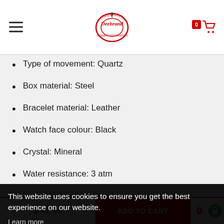Deebrand — Connect with Fashion
Type of movement: Quartz
Box material: Steel
Bracelet material: Leather
Watch face colour: Black
Crystal: Mineral
Water resistance: 3 atm
Type of fastening: Buckle
Diameter of the box: 42 mm
This website uses cookies to ensure you get the best experience on our website.
Learn more
Got it!
$ 41.99   ADD TO CART